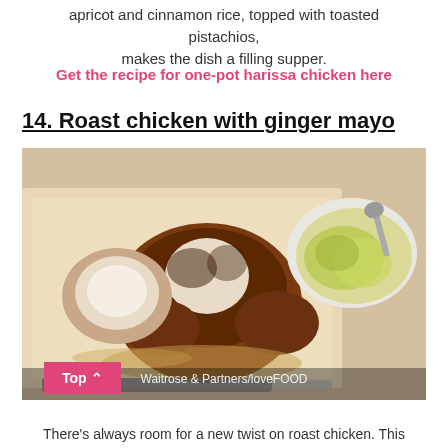apricot and cinnamon rice, topped with toasted pistachios, makes the dish a filling supper.
Get the recipe for one-pot harissa chicken here
14. Roast chicken with ginger mayo
[Figure (photo): A roast chicken on a baking tray with a bowl of ginger mayo sauce, photographed by Waitrose & Partners/loveFOOD]
Waitrose & Partners/loveFOOD
There's always room for a new twist on roast chicken. This